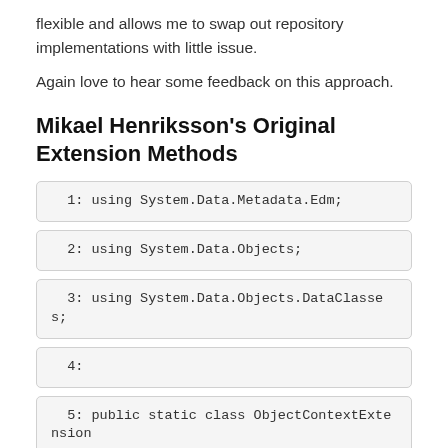flexible and allows me to swap out repository implementations with little issue.
Again love to hear some feedback on this approach.
Mikael Henriksson's Original Extension Methods
1: using System.Data.Metadata.Edm;
2: using System.Data.Objects;
3: using System.Data.Objects.DataClasses;
4:
5: public static class ObjectContextExtensions
6: {